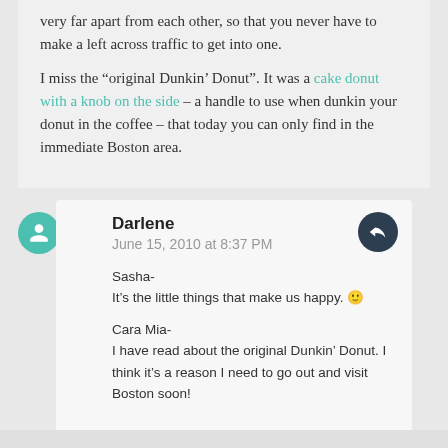very far apart from each other, so that you never have to make a left across traffic to get into one.

I miss the “original Dunkin’ Donut”. It was a cake donut with a knob on the side – a handle to use when dunkin your donut in the coffee – that today you can only find in the immediate Boston area.
Darlene
June 15, 2010 at 8:37 PM

Sasha-
It’s the little things that make us happy. 🙂

Cara Mia-
I have read about the original Dunkin’ Donut. I think it’s a reason I need to go out and visit Boston soon!